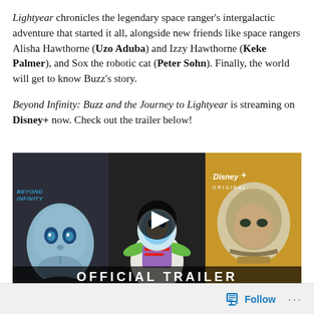Lightyear chronicles the legendary space ranger's intergalactic adventure that started it all, alongside new friends like space rangers Alisha Hawthorne (Uzo Aduba) and Izzy Hawthorne (Keke Palmer), and Sox the robotic cat (Peter Sohn). Finally, the world will get to know Buzz's story.

Beyond Infinity: Buzz and the Journey to Lightyear is streaming on Disney+ now. Check out the trailer below!
[Figure (screenshot): YouTube video thumbnail for 'Beyond Infinity | Official Trailer | Disney+' showing three panels: left panel with animated Buzz Lightyear toy face, center panel with animated Buzz Lightyear in spacesuit with play button overlay, right panel with realistic Buzz Lightyear in helmet. Disney+ Original branding visible. 'OFFICIAL TRAILER' text at bottom.]
Follow ···